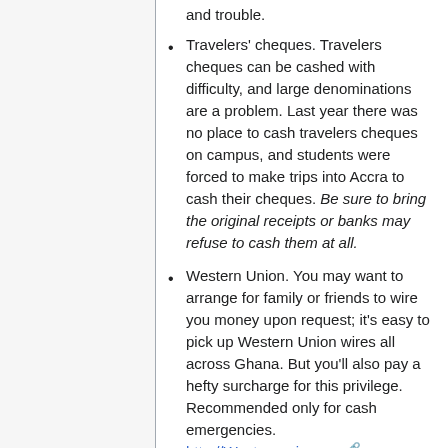Travelers' cheques. Travelers cheques can be cashed with difficulty, and large denominations are a problem. Last year there was no place to cash travelers cheques on campus, and students were forced to make trips into Accra to cash their cheques. Be sure to bring the original receipts or banks may refuse to cash them at all.
Western Union. You may want to arrange for family or friends to wire you money upon request; it's easy to pick up Western Union wires all across Ghana. But you'll also pay a hefty surcharge for this privilege. Recommended only for cash emergencies. http://Westernunion.com